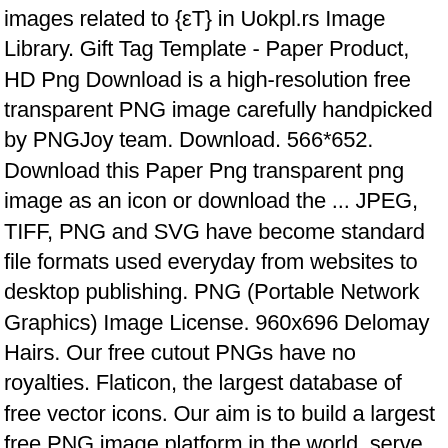images related to {εT} in Uokpl.rs Image Library. Gift Tag Template - Paper Product, HD Png Download is a high-resolution free transparent PNG image carefully handpicked by PNGJoy team. Download. 566*652. Download this Paper Png transparent png image as an icon or download the ... JPEG, TIFF, PNG and SVG have become standard file formats used everyday from websites to desktop publishing. PNG (Portable Network Graphics) Image License. 960x696 Delomay Hairs. Our free cutout PNGs have no royalties. Flaticon, the largest database of free vector icons. Our aim is to build a largest free PNG image platform in the world, serve for all the professional designer and people who have design skills. Its size is 3.91 MB and you can easily and free download it from this link: Download. Hobbit Board Badge Smalllogo Paper - Old Glory The Hobbit - Logo Leather Wallet, Men's, Old Paper With Samurai Silhouette Wall Mural • Pixers®, Vector Set Of Italy Symbols On Vintage Old Papers - Motif, Polytech Adda ,polytechnic, Diploma, Old Question Papers,question - Question, Old Burnt Paper Png Psd Detail